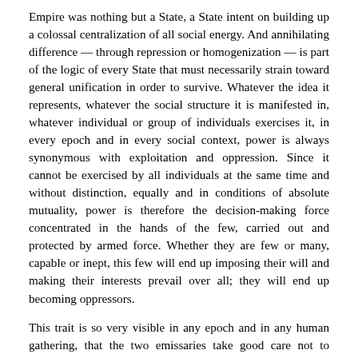Empire was nothing but a State, a State intent on building up a colossal centralization of all social energy. And annihilating difference — through repression or homogenization — is part of the logic of every State that must necessarily strain toward general unification in order to survive. Whatever the idea it represents, whatever the social structure it is manifested in, whatever individual or group of individuals exercises it, in every epoch and in every social context, power is always synonymous with exploitation and oppression. Since it cannot be exercised by all individuals at the same time and without distinction, equally and in conditions of absolute mutuality, power is therefore the decision-making force concentrated in the hands of the few, carried out and protected by armed force. Whether they are few or many, capable or inept, this few will end up imposing their will and making their interests prevail over all; they will end up becoming oppressors.
This trait is so very visible in any epoch and in any human gathering, that the two emissaries take good care not to ignore it. On the contrary, they confront the problem directly, but in their own way: "In the process of the constitution of sovereignty on the plane of immanence, there also arises an experience of finitude that results from the conflictive and plural nature of the multitude itself. The new principle of sovereignty seems to produce its own internal